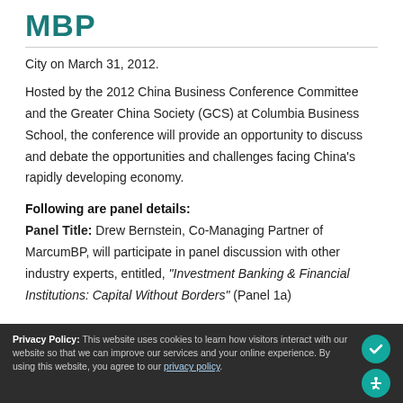[Figure (logo): MBP logo – teal/dark teal letters partially visible at top]
City on March 31, 2012.
Hosted by the 2012 China Business Conference Committee and the Greater China Society (GCS) at Columbia Business School, the conference will provide an opportunity to discuss and debate the opportunities and challenges facing China's rapidly developing economy.
Following are panel details:
Panel Title: Drew Bernstein, Co-Managing Partner of MarcumBP, will participate in panel discussion with other industry experts, entitled, “Investment Banking & Financial Institutions: Capital Without Borders” (Panel 1a)
Privacy Policy: This website uses cookies to learn how visitors interact with our website so that we can improve our services and your online experience. By using this website, you agree to our privacy policy.